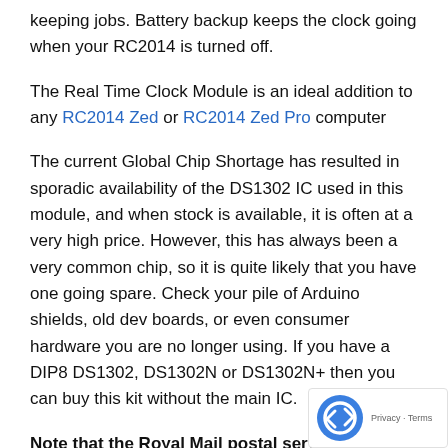keeping jobs. Battery backup keeps the clock going when your RC2014 is turned off.
The Real Time Clock Module is an ideal addition to any RC2014 Zed or RC2014 Zed Pro computer
The current Global Chip Shortage has resulted in sporadic availability of the DS1302 IC used in this module, and when stock is available, it is often at a very high price. However, this has always been a very common chip, so it is quite likely that you have one going spare. Check your pile of Arduino shields, old dev boards, or even consumer hardware you are no longer using. If you have a DIP8 DS1302, DS1302N or DS1302N+ then you can buy this kit without the main IC.
Note that the Royal Mail postal service has a phobia about batteries exploding and taking down aircraft. So unfortunately, you will have to source your own CR2... battery.